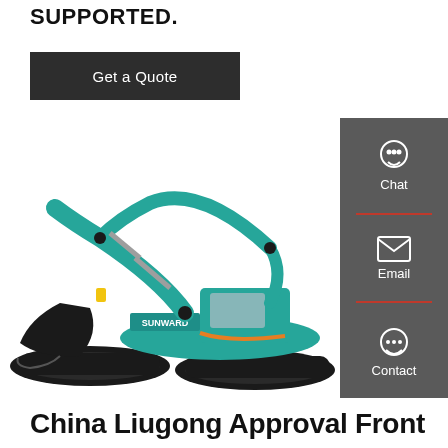SUPPORTED.
Get a Quote
[Figure (photo): Sunward branded teal/turquoise hydraulic excavator on white background, with arm extended and bucket lowered]
Chat
Email
Contact
China Liugong Approval Front